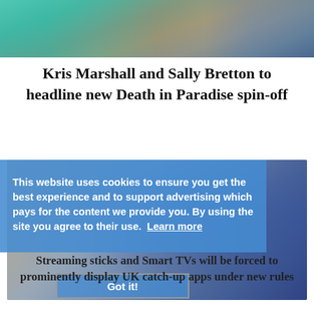[Figure (photo): Partial photo of two people, one in teal/turquoise top, one in denim jacket, outdoors with wooden structure]
Kris Marshall and Sally Bretton to headline new Death in Paradise spin-off
[Figure (photo): Remote controls and smart TV/streaming device on a blurred background, blue-toned]
This website uses cookies to ensure you get the best experience and to support advertising which pays for the content we provide you. By using the site you agree to their use.  Learn more
Got it!
Streaming sticks and Smart TVs will be forced to prominently display UK catch-up apps under new rules